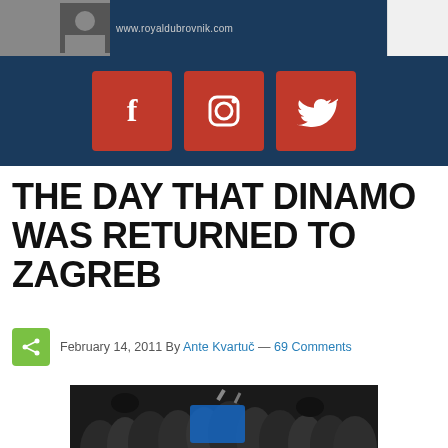www.royaldubrovnik.com
[Figure (logo): Social media icons: Facebook, Instagram, Twitter on dark blue background]
THE DAY THAT DINAMO WAS RETURNED TO ZAGREB
February 14, 2011 By Ante Kvartuč — 69 Comments
[Figure (photo): Crowd of football fans, one holding up a blue Dinamo jersey, in a nighttime setting with police in helmets visible]